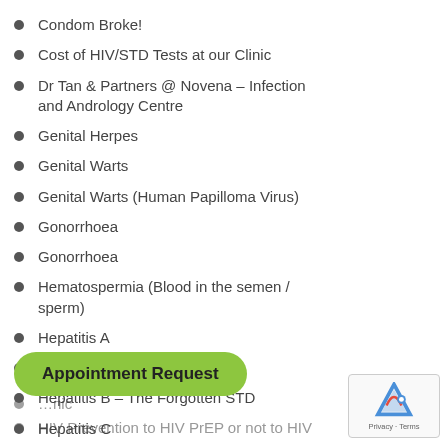Condom Broke!
Cost of HIV/STD Tests at our Clinic
Dr Tan & Partners @ Novena – Infection and Andrology Centre
Genital Herpes
Genital Warts
Genital Warts (Human Papilloma Virus)
Gonorrhoea
Gonorrhoea
Hematospermia (Blood in the semen / sperm)
Hepatitis A
Hepatitis B
Hepatitis B – The Forgotten STD
Hepatitis C
Herpes
HIV and Hep C coinfection window period
…nic
HIV Prevention to HIV PrEP or not to HIV